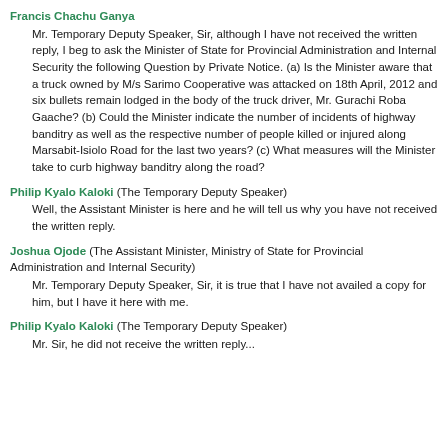Francis Chachu Ganya
Mr. Temporary Deputy Speaker, Sir, although I have not received the written reply, I beg to ask the Minister of State for Provincial Administration and Internal Security the following Question by Private Notice. (a) Is the Minister aware that a truck owned by M/s Sarimo Cooperative was attacked on 18th April, 2012 and six bullets remain lodged in the body of the truck driver, Mr. Gurachi Roba Gaache? (b) Could the Minister indicate the number of incidents of highway banditry as well as the respective number of people killed or injured along Marsabit-Isiolo Road for the last two years? (c) What measures will the Minister take to curb highway banditry along the road?
Philip Kyalo Kaloki (The Temporary Deputy Speaker)
Well, the Assistant Minister is here and he will tell us why you have not received the written reply.
Joshua Ojode (The Assistant Minister, Ministry of State for Provincial Administration and Internal Security)
Mr. Temporary Deputy Speaker, Sir, it is true that I have not availed a copy for him, but I have it here with me.
Philip Kyalo Kaloki (The Temporary Deputy Speaker)
Mr. Sir, he did not receive the written reply...